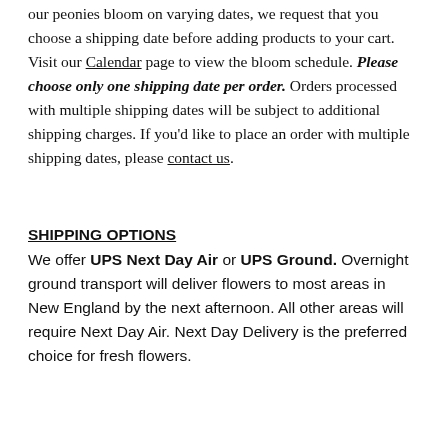our peonies bloom on varying dates, we request that you choose a shipping date before adding products to your cart. Visit our Calendar page to view the bloom schedule. Please choose only one shipping date per order. Orders processed with multiple shipping dates will be subject to additional shipping charges. If you'd like to place an order with multiple shipping dates, please contact us.
SHIPPING OPTIONS
We offer UPS Next Day Air or UPS Ground. Overnight ground transport will deliver flowers to most areas in New England by the next afternoon. All other areas will require Next Day Air. Next Day Delivery is the preferred choice for fresh flowers.